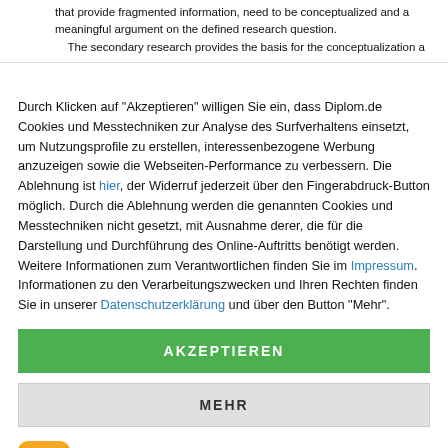that provide fragmented information, need to be conceptualized and a meaningful argument on the defined research question. The secondary research provides the basis for the conceptualization a
Durch Klicken auf "Akzeptieren" willigen Sie ein, dass Diplom.de Cookies und Messtechniken zur Analyse des Surfverhaltens einsetzt, um Nutzungsprofile zu erstellen, interessenbezogene Werbung anzuzeigen sowie die Webseiten-Performance zu verbessern. Die Ablehnung ist hier, der Widerruf jederzeit über den Fingerabdruck-Button möglich. Durch die Ablehnung werden die genannten Cookies und Messtechniken nicht gesetzt, mit Ausnahme derer, die für die Darstellung und Durchführung des Online-Auftritts benötigt werden. Weitere Informationen zum Verantwortlichen finden Sie im Impressum. Informationen zu den Verarbeitungszwecken und Ihren Rechten finden Sie in unserer Datenschutzerklärung und über den Button "Mehr".
AKZEPTIEREN
MEHR
Powered by usercentrics & TRUSTED SHOPS